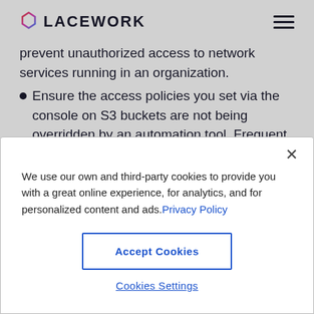LACEWORK
prevent unauthorized access to network services running in an organization.
Ensure the access policies you set via the console on S3 buckets are not being overridden by an automation tool. Frequent
We use our own and third-party cookies to provide you with a great online experience, for analytics, and for personalized content and ads. Privacy Policy
Accept Cookies
Cookies Settings
crimeware incidents, vulnerabilities, and